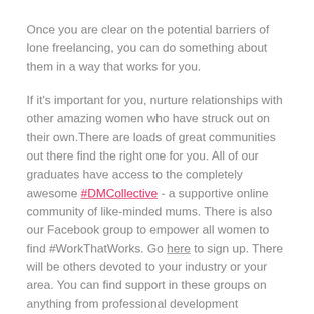Once you are clear on the potential barriers of lone freelancing, you can do something about them in a way that works for you.
If it's important for you, nurture relationships with other amazing women who have struck out on their own.There are loads of great communities out there find the right one for you. All of our graduates have access to the completely awesome #DMCollective - a supportive online community of like-minded mums. There is also our Facebook group to empower all women to find #WorkThatWorks. Go here to sign up. There will be others devoted to your industry or your area. You can find support in these groups on anything from professional development questions to support handling a tricky client.
If you hate being alone all day, go and work in a co-working